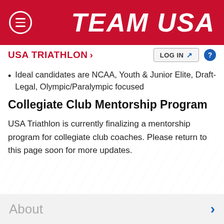TEAM USA
USA TRIATHLON >
Ideal candidates are NCAA, Youth & Junior Elite, Draft-Legal, Olympic/Paralympic focused
Collegiate Club Mentorship Program
USA Triathlon is currently finalizing a mentorship program for collegiate club coaches. Please return to this page soon for more updates.
About